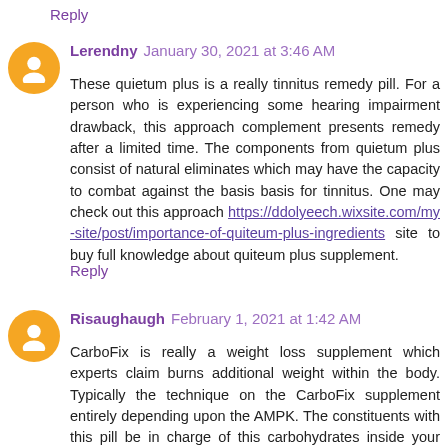Reply
Lerendny January 30, 2021 at 3:46 AM
These quietum plus is a really tinnitus remedy pill. For a person who is experiencing some hearing impairment drawback, this approach complement presents remedy after a limited time. The components from quietum plus consist of natural eliminates which may have the capacity to combat against the basis basis for tinnitus. One may check out this approach https://ddolyeech.wixsite.com/my-site/post/importance-of-quiteum-plus-ingredients site to buy full knowledge about quiteum plus supplement.
Reply
Risaughaugh February 1, 2021 at 1:42 AM
CarboFix is really a weight loss supplement which experts claim burns additional weight within the body. Typically the technique on the CarboFix supplement entirely depending upon the AMPK. The constituents with this pill be in charge of this carbohydrates inside your body. It is actually a one